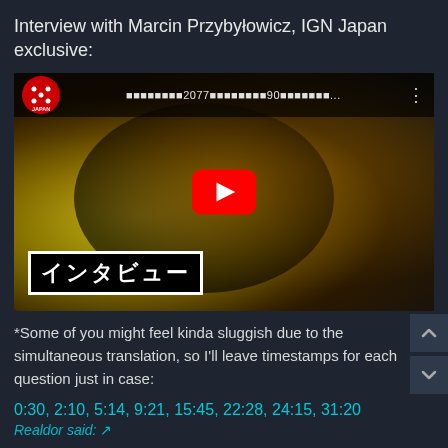Interview with Marcin Przybyłowicz, IGN Japan exclusive:
[Figure (screenshot): YouTube video thumbnail showing a person performing/singing with dramatic yellow-green stage lighting, an IGN Japan logo in the top-left corner, Japanese text title with '2077' and '90' visible, a red YouTube play button in the center, and a Japanese subtitle box reading 'インタビュー' (Interview) in the bottom-left.]
*Some of you might feel kinda sluggish due to the simultaneous translation, so I'll leave timestamps for each question just in case:
0:30, 2:10, 5:14, 9:21, 15:45, 22:28, 24:15, 31:20
Realdor said: ↗